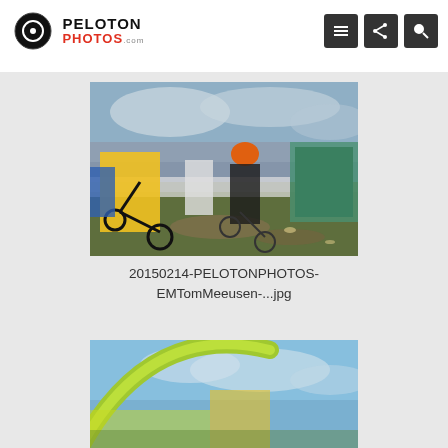PELOTONPHOTOS.com
[Figure (photo): Cyclocross race photo showing cyclists riding through muddy terrain with spectators and banners in background. Rider in yellow jersey prominent in foreground.]
20150214-PELOTONPHOTOS-EMTomMeeusen-...jpg
[Figure (photo): Partially visible photo showing cyclist with yellow/green bicycle wheel in foreground against blue sky background.]